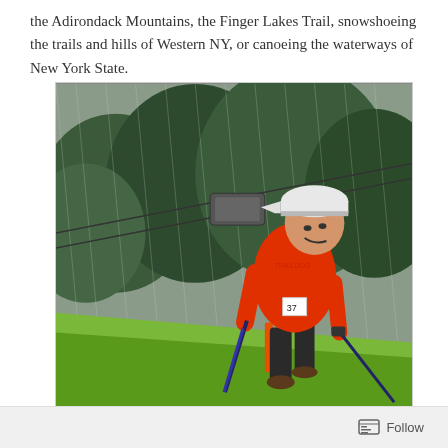the Adirondack Mountains, the Finger Lakes Trail, snowshoeing the trails and hills of Western NY, or canoeing the waterways of New York State.
[Figure (photo): A man wearing an orange t-shirt, white cap, and dark shorts using trekking poles while running or hiking up a grassy hill in heavy rain. A ski lift is visible in the background with dense green trees. He is wearing race bib number 37.]
Follow